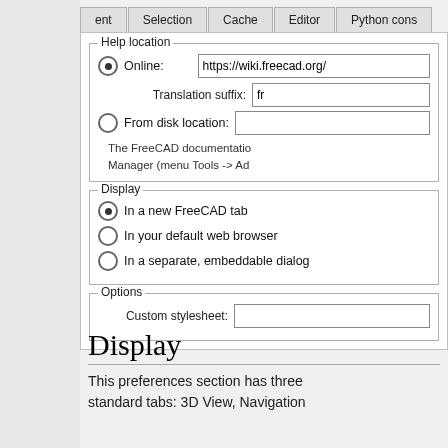[Figure (screenshot): FreeCAD Preferences dialog showing tabs (ent, Selection, Cache, Editor, Python cons) and panels: Help location group with Online radio selected (https://wiki.freecad.org/), Translation suffix (fr), From disk location radio, info text about FreeCAD documentation Manager; Display group with In a new FreeCAD tab selected, In your default web browser, In a separate embeddable dialog; Options group with Custom stylesheet field.]
Display
This preferences section has three standard tabs: 3D View, Navigation